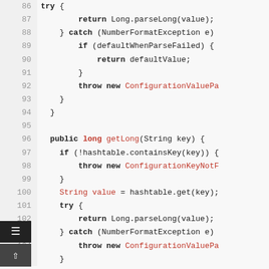[Figure (screenshot): Source code viewer showing Java code lines 86-105 with line numbers on the left. Code includes try/catch blocks, if statements, return statements, and throw statements. Keywords are bold, class names like ConfigurationValuePa and ConfigurationKeyNotF are shown in red.]